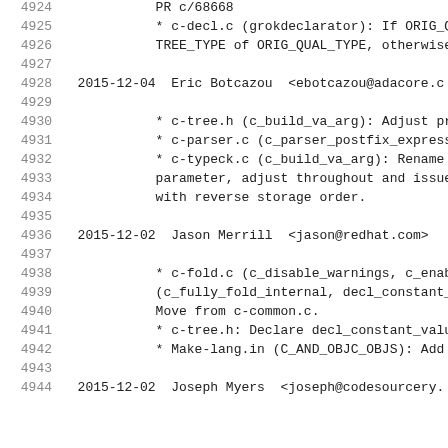4924    PR c/68668
4925    * c-decl.c (grokdeclarator): If ORIG_QU
4926    TREE_TYPE of ORIG_QUAL_TYPE, otherwise
4927
4928  2015-12-04  Eric Botcazou  <ebotcazou@adacore.c
4929
4930    * c-tree.h (c_build_va_arg): Adjust pro
4931    * c-parser.c (c_parser_postfix_expressi
4932    * c-typeck.c (c_build_va_arg): Rename L
4933    parameter, adjust throughout and issue
4934    with reverse storage order.
4935
4936  2015-12-02  Jason Merrill  <jason@redhat.com>
4937
4938    * c-fold.c (c_disable_warnings, c_enabl
4939    (c_fully_fold_internal, decl_constant_v
4940    Move from c-common.c.
4941    * c-tree.h: Declare decl_constant_value
4942    * Make-lang.in (C_AND_OBJC_OBJS): Add c
4943
4944  2015-12-02  Joseph Myers  <joseph@codesourcery.